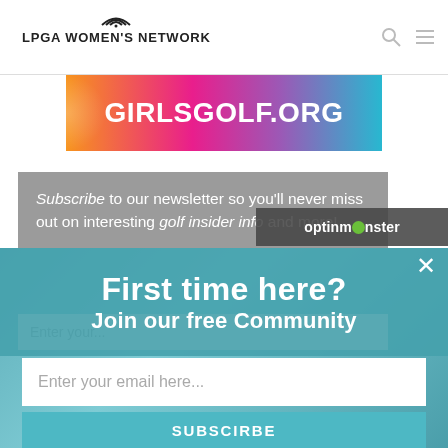LPGA WOMEN'S NETWORK
[Figure (screenshot): GIRLSGOLF.ORG colorful banner with gradient background (orange, pink, purple, teal)]
Subscribe to our newsletter so you'll never miss out on interesting golf insider info and more!
[Figure (screenshot): OptinMonster badge in dark background]
First time here?
Join our free Community
Enter your email here...
SUBSCIRBE